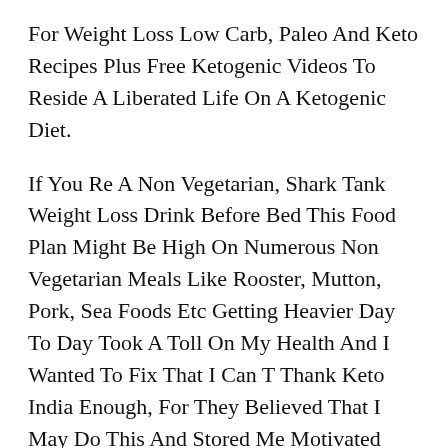For Weight Loss Low Carb, Paleo And Keto Recipes Plus Free Ketogenic Videos To Reside A Liberated Life On A Ketogenic Diet.
If You Re A Non Vegetarian, Shark Tank Weight Loss Drink Before Bed This Food Plan Might Be High On Numerous Non Vegetarian Meals Like Rooster, Mutton, Pork, Sea Foods Etc Getting Heavier Day To Day Took A Toll On My Health And I Wanted To Fix That I Can T Thank Keto India Enough, For They Believed That I May Do This And Stored Me Motivated Throughout My Journey I To lose weight home remedies Dr Oz Weight Loss Drink Shark Tank Suffered Weight Loss Injections From Sports Accidents As A Outcome One Shot Keto Shark Tank Episode Of Which I Couldn T Workout.
As Their Adrenals Are Already Shot, Perimenopausal